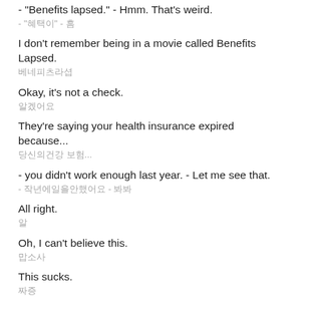- "Benefits lapsed." - Hmm. That's weird.
- "혜택이" - 흠
I don't remember being in a movie called Benefits Lapsed.
베네피츠라셥
Okay, it's not a check.
알겠어요
They're saying your health insurance expired because...
당신의건강 보험...
- you didn't work enough last year. - Let me see that.
- 작년에일을안했어요 - 봐봐
All right.
알
Oh, I can't believe this.
맙소사
This sucks.
짜증